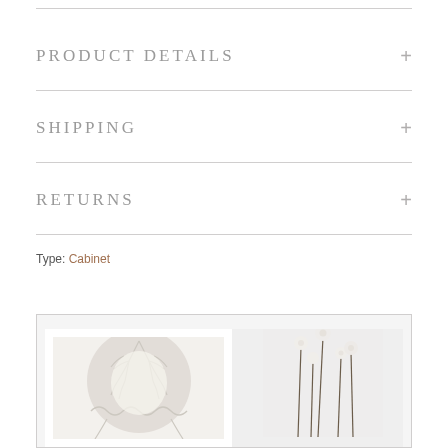PRODUCT DETAILS
SHIPPING
RETURNS
Type: Cabinet
[Figure (photo): Two side-by-side product photos inside a bordered frame. Left photo shows a white knitted/crocheted bonnet hat with intricate branching pattern against a white background. Right photo shows delicate white flowers on thin stems against a light grey background.]